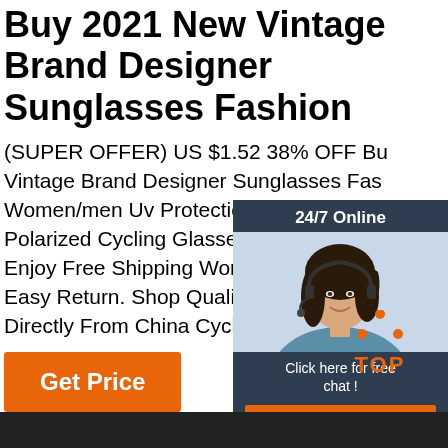Buy 2021 New Vintage Brand Designer Sunglasses Fashion
(SUPER OFFER) US $1.52 38% OFF Buy Vintage Brand Designer Sunglasses Fashion Women/men Uv Protection UV400 Eyewear Polarized Cycling Glasses From Seller NO Enjoy Free Shipping Worldwide! Limited T Easy Return. Shop Quality & Best Cycling Directly From China Cycling Eyewear Sup
[Figure (photo): Customer service representative widget with '24/7 Online' header, photo of woman with headset, 'Click here for free chat!' text, and orange QUOTATION button]
Get Price
[Figure (logo): Orange TOP arrow/triangle logo icon]